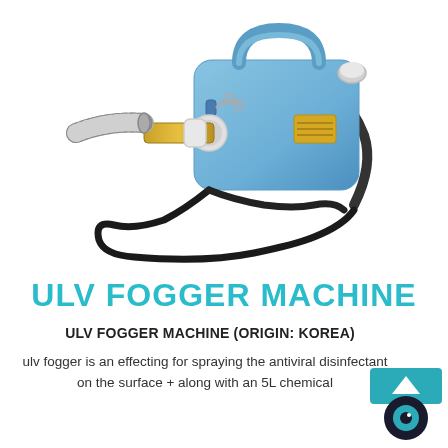[Figure (photo): A blue ULV fogger machine with a grey flexible hose nozzle, brass/white spray head, carrying strap, and black power cord coiled underneath, on white background.]
ULV FOGGER MACHINE
ULV FOGGER MACHINE (ORIGIN: KOREA)
ulv fogger is an effecting for spraying the antiviral disinfectant on the surface + along with an 5L chemical